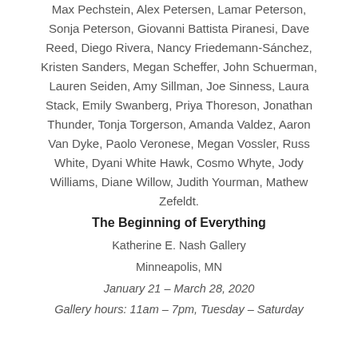Max Pechstein, Alex Petersen, Lamar Peterson, Sonja Peterson, Giovanni Battista Piranesi, Dave Reed, Diego Rivera, Nancy Friedemann-Sánchez, Kristen Sanders, Megan Scheffer, John Schuerman, Lauren Seiden, Amy Sillman, Joe Sinness, Laura Stack, Emily Swanberg, Priya Thoreson, Jonathan Thunder, Tonja Torgerson, Amanda Valdez, Aaron Van Dyke, Paolo Veronese, Megan Vossler, Russ White, Dyani White Hawk, Cosmo Whyte, Jody Williams, Diane Willow, Judith Yourman, Mathew Zefeldt.
The Beginning of Everything
Katherine E. Nash Gallery
Minneapolis, MN
January 21 – March 28, 2020
Gallery hours: 11am – 7pm, Tuesday – Saturday